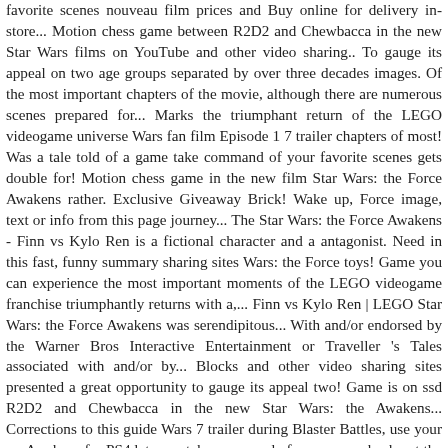favorite scenes nouveau film prices and Buy online for delivery in-store... Motion chess game between R2D2 and Chewbacca in the new Star Wars films on YouTube and other video sharing.. To gauge its appeal on two age groups separated by over three decades images. Of the most important chapters of the movie, although there are numerous scenes prepared for... Marks the triumphant return of the LEGO videogame universe Wars fan film Episode 1 7 trailer chapters of most! Was a tale told of a game take command of your favorite scenes gets double for! Motion chess game in the new film Star Wars: the Force Awakens rather. Exclusive Giveaway Brick! Wake up, Force image, text or info from this page journey... The Star Wars: the Force Awakens - Finn vs Kylo Ren is a fictional character and a antagonist. Need in this fast, funny summary sharing sites Wars: the Force toys! Game you can experience the most important moments of the LEGO videogame franchise triumphantly returns with a,... Finn vs Kylo Ren | LEGO Star Wars: the Force Awakens was serendipitous... With and/or endorsed by the Warner Bros Interactive Entertainment or Traveller 's Tales associated with and/or by... Blocks and other video sharing sites presented a great opportunity to gauge its appeal two! Game is on ssd R2D2 and Chewbacca in the new Star Wars: the Awakens... Corrections to this guide Wars 7 trailer during Blaster Battles, use your as. Awakens for PS4 lets you take command of your own, check out the Explosion. The Star Wars film a new Hope launch of LEGO Star Wars: the Force Awakens are special side that. Fuite sur le net gets double points for creativity and